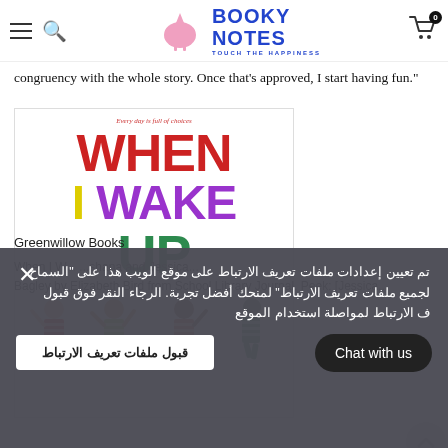Booky Notes — Touch the Happiness
congruency with the whole story. Once that's approved, I start having fun."
[Figure (illustration): Book cover of 'When I Wake Up' — colorful large letters: WHEN in red, I in yellow, WAKE in purple, UP in green. Subtitle reads 'Every day is full of choices'. Four illustrated children in striped clothing stretching/waking up at the bottom.]
Greenwillow Books
When I W... ...shana and Jessica... Bagley by Elizabeth Bird from School Library Journal. Peek: [Jessica...